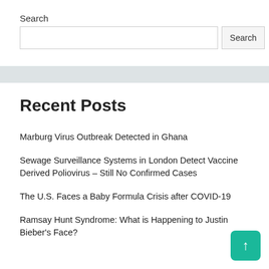Search
Search input and button
Recent Posts
Marburg Virus Outbreak Detected in Ghana
Sewage Surveillance Systems in London Detect Vaccine Derived Poliovirus – Still No Confirmed Cases
The U.S. Faces a Baby Formula Crisis after COVID-19
Ramsay Hunt Syndrome: What is Happening to Justin Bieber's Face?